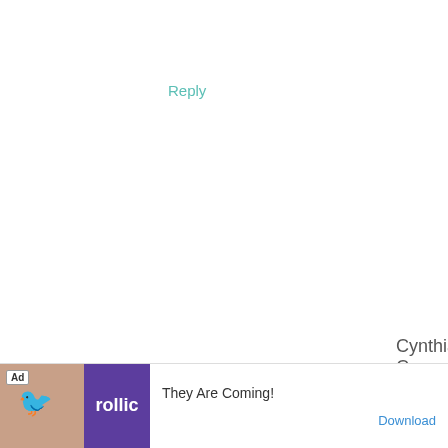Reply
Cynthia C says
June 9, 2016 at 1:30 pm
I think consistency is the key to a morning routine.
Reply
[Figure (other): Advertisement banner at bottom: Ad badge, game image with rollic logo in purple, text 'They Are Coming!' and 'Download' link]